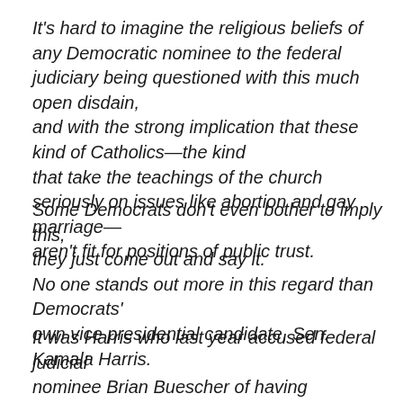It's hard to imagine the religious beliefs of any Democratic nominee to the federal judiciary being questioned with this much open disdain, and with the strong implication that these kind of Catholics—the kind that take the teachings of the church seriously on issues like abortion and gay marriage— aren't fit for positions of public trust.
Some Democrats don't even bother to imply this, they just come out and say it. No one stands out more in this regard than Democrats' own vice presidential candidate, Sen. Kamala Harris.
It was Harris who last year accused federal judicial nominee Brian Buescher of having